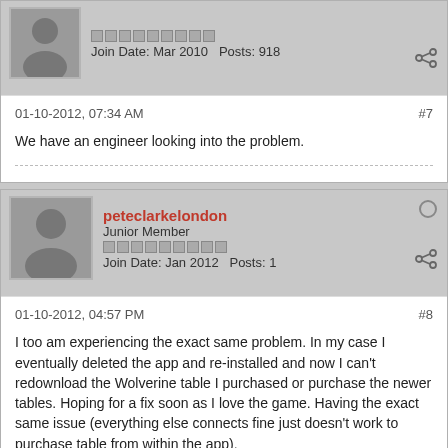Join Date: Mar 2010   Posts: 918
01-10-2012, 07:34 AM   #7
We have an engineer looking into the problem.
peteclarkelondon
Junior Member
Join Date: Jan 2012   Posts: 1
01-10-2012, 04:57 PM   #8
I too am experiencing the exact same problem. In my case I eventually deleted the app and re-installed and now I can't redownload the Wolverine table I purchased or purchase the newer tables. Hoping for a fix soon as I love the game. Having the exact same issue (everything else connects fine just doesn't work to purchase table from within the app).
Quine